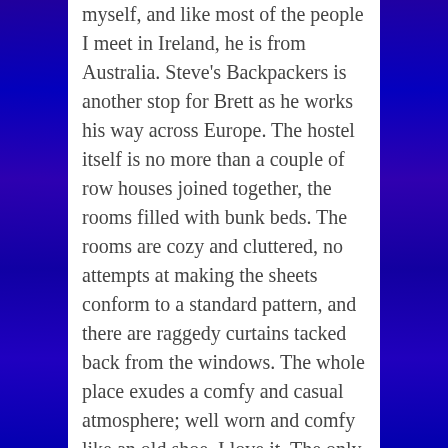myself, and like most of the people I meet in Ireland, he is from Australia.  Steve's Backpackers is another stop for Brett as he works his way across Europe.  The hostel itself is no more than a couple of row houses joined together, the rooms filled with bunk beds.  The rooms are cozy and cluttered, no attempts at making the sheets conform to a standard pattern, and there are raggedy curtains tacked back from the windows.  The whole place exudes a comfy and casual atmosphere; well worn and comfy like an old shoe.  I love it.  The only single bed in the dorm room on the second floor is free, so I drop my bag on it to stake my claim.
In the hallway, a door is marked with a sign labeled “MAP OF BATHROOMDERRY,” the